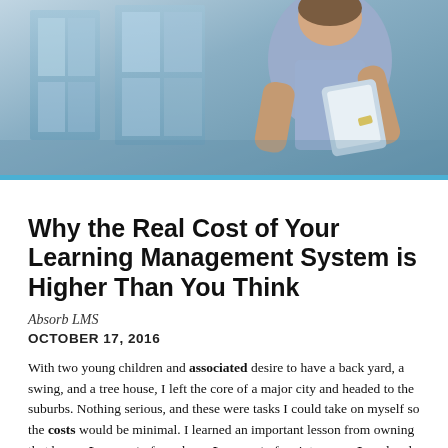[Figure (photo): Woman in blue short-sleeve shirt holding a tablet device, standing in front of glass windows/building exterior. Photo cropped to show upper body.]
Why the Real Cost of Your Learning Management System is Higher Than You Think
Absorb LMS
OCTOBER 17, 2016
With two young children and associated desire to have a back yard, a swing, and a tree house, I left the core of a major city and headed to the suburbs. Nothing serious, and these were tasks I could take on myself so the costs would be minimal. I learned an important lesson from owning that home: Low cost of purchase. Low cost of maintenance. Low level of effort. Calculating the Total Cost of a Learning Management System